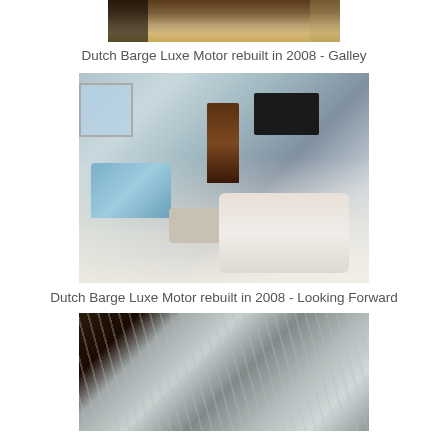[Figure (photo): Partial view of galley (kitchen area) on Dutch Barge Luxe Motor, showing wooden table/counter top with fruit bowl, cropped at top]
Dutch Barge Luxe Motor rebuilt in 2008 - Galley
[Figure (photo): Interior salon/living room of Dutch Barge Luxe Motor looking forward, showing blue floral sofa on left, large white sectional sofa, ottoman, flat-screen TV mounted on wall, doorway in center, windows, and decorative items]
Dutch Barge Luxe Motor rebuilt in 2008 - Looking Forward
[Figure (photo): Close-up of silver/metallic foil insulation material with reflective crinkled texture, partially cut off at bottom]